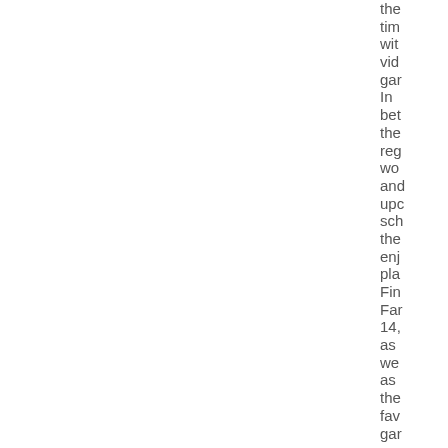the tim wit vid gar In bet the reg wo and upc sch the enj pla Fin Far 14, as we as the fav gar